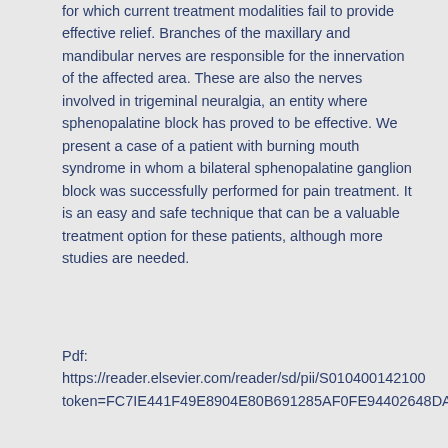for which current treatment modalities fail to provide effective relief. Branches of the maxillary and mandibular nerves are responsible for the innervation of the affected area. These are also the nerves involved in trigeminal neuralgia, an entity where sphenopalatine block has proved to be effective. We present a case of a patient with burning mouth syndrome in whom a bilateral sphenopalatine ganglion block was successfully performed for pain treatment. It is an easy and safe technique that can be a valuable treatment option for these patients, although more studies are needed.
Pdf: https://reader.elsevier.com/reader/sd/pii/S010400142100 token=FC7IE441F49E8904E80B691285AF0FE94402648DA7